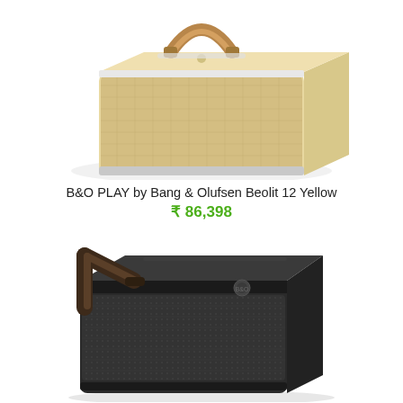[Figure (photo): Partial top view of a B&O PLAY Bang & Olufsen Beolit 12 Yellow portable speaker with beige/natural fabric mesh and tan leather handle, shown from a 3/4 angle against white background]
B&O PLAY by Bang & Olufsen Beolit 12 Yellow
₹ 86,398
[Figure (photo): B&O PLAY Bang & Olufsen Beolit 15 portable Bluetooth speaker in dark charcoal/black color with dark leather handle and dark mesh grille, shown from 3/4 angle against white background]